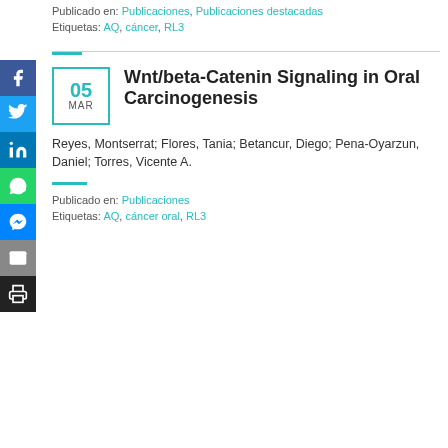Publicado en: Publicaciones, Publicaciones destacadas
Etiquetas: AQ, cáncer, RL3
Wnt/beta-Catenin Signaling in Oral Carcinogenesis
Reyes, Montserrat; Flores, Tania; Betancur, Diego; Pena-Oyarzun, Daniel; Torres, Vicente A.
Publicado en: Publicaciones
Etiquetas: AQ, cáncer oral, RL3